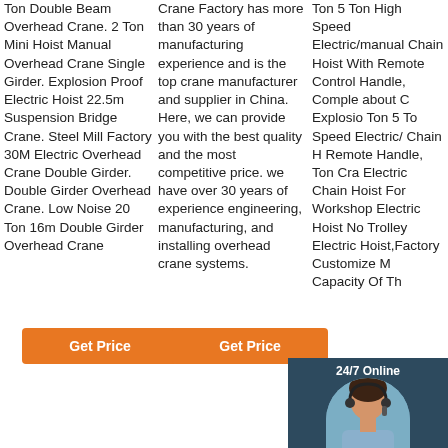Ton Double Beam Overhead Crane. 2 Ton Mini Hoist Manual Overhead Crane Single Girder. Explosion Proof Electric Hoist 22.5m Suspension Bridge Crane. Steel Mill Factory 30M Electric Overhead Crane Double Girder. Double Girder Overhead Crane. Low Noise 20 Ton 16m Double Girder Overhead Crane
Crane Factory has more than 30 years of manufacturing experience and is the top crane manufacturer and supplier in China. Here, we can provide you with the best quality and the most competitive price. we have over 30 years of experience engineering, manufacturing, and installing overhead crane systems.
Ton 5 Ton High Speed Electric/manual Chain Hoist With Remote Control Handle, Complete about C Explosion Ton 5 To Speed Electric/ Chain H Remote Handle, Ton Cra Electric Chain Hoist For Workshop Electric Hoist No Trolley Electric Hoist,Factory Customize M Capacity Of Th
[Figure (photo): 24/7 Online chat support overlay with woman wearing headset, orange QUOTATION button]
Get Price
Get Price
Get Price